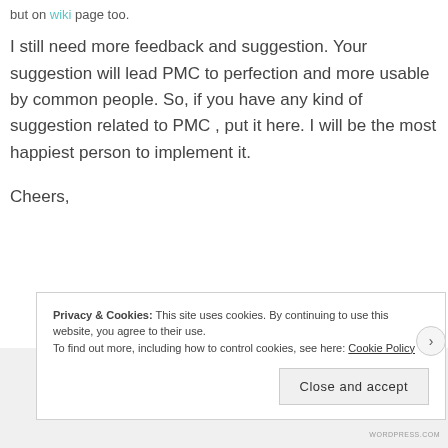but on wiki page too.
I still need more feedback and suggestion. Your suggestion will lead PMC to perfection and more usable by common people. So, if you have any kind of suggestion related to PMC , put it here. I will be the most happiest person to implement it.
Cheers,
Privacy & Cookies: This site uses cookies. By continuing to use this website, you agree to their use.
To find out more, including how to control cookies, see here: Cookie Policy
Close and accept